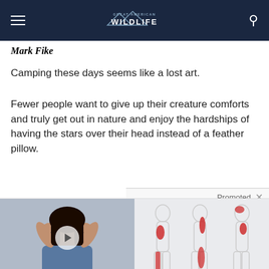Great American Wildlife
Mark Fike
Camping these days seems like a lost art.
Fewer people want to give up their creature comforts and truly get out in nature and enjoy the hardships of having the stars over their head instead of a feather pillow.
[Figure (photo): Woman holding her ears with hands, video thumbnail with play button overlay. Ad for tinnitus treatment.]
Silence Tinnitus By Doing This Once Daily!
🔥 140
[Figure (illustration): Medical illustration showing three body silhouettes with red areas indicating sciatic nerve pain regions.]
Are You Suffering From Sciatic Nerve Pain? Find Out Why
🔥 4,510